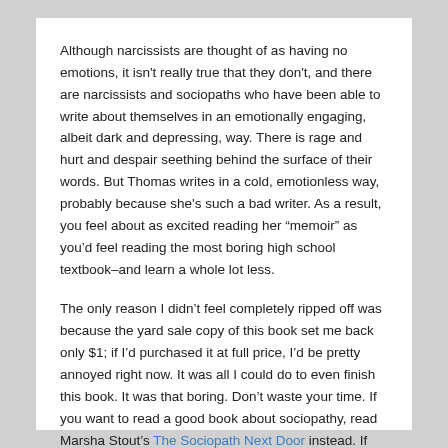Although narcissists are thought of as having no emotions, it isn't really true that they don't, and there are narcissists and sociopaths who have been able to write about themselves in an emotionally engaging, albeit dark and depressing, way. There is rage and hurt and despair seething behind the surface of their words. But Thomas writes in a cold, emotionless way, probably because she's such a bad writer. As a result, you feel about as excited reading her “memoir” as you’d feel reading the most boring high school textbook–and learn a whole lot less.
The only reason I didn’t feel completely ripped off was because the yard sale copy of this book set me back only $1; if I’d purchased it at full price, I’d be pretty annoyed right now. It was all I could do to even finish this book. It was that boring. Don’t waste your time. If you want to read a good book about sociopathy, read Marsha Stout’s The Sociopath Next Door instead. If you really need to read something that comes “out of the horse’s mouth,” you’d do better with Sam Vaknin.